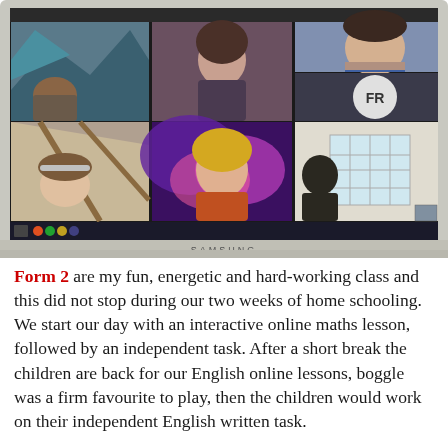[Figure (photo): A Samsung monitor showing a video call (likely Zoom or Teams) with multiple participants including children and adults. The grid shows 6 video tiles: top-left shows a child from behind with a mountain landscape background, top-center shows a girl in a dark hoodie, top-right shows a boy looking up, middle-right shows a grey circle with initials 'FR', bottom-left shows a young girl with a headband, bottom-center shows a girl with blonde hair and a colorful galaxy background in an orange shirt, bottom-right shows a silhouetted figure by a window. The monitor is a Samsung with a dark bezel.]
Form 2 are my fun, energetic and hard-working class and this did not stop during our two weeks of home schooling. We start our day with an interactive online maths lesson, followed by an independent task. After a short break the children are back for our English online lessons, boggle was a firm favourite to play, then the children would work on their independent English written task.